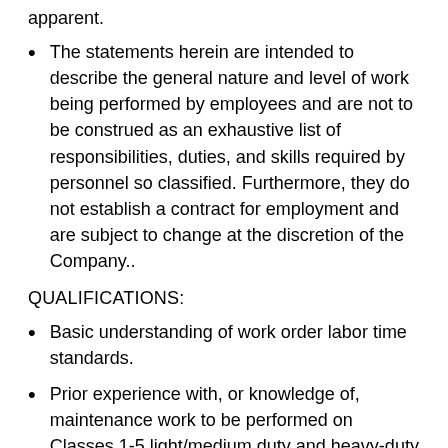apparent.
The statements herein are intended to describe the general nature and level of work being performed by employees and are not to be construed as an exhaustive list of responsibilities, duties, and skills required by personnel so classified. Furthermore, they do not establish a contract for employment and are subject to change at the discretion of the Company..
QUALIFICATIONS:
Basic understanding of work order labor time standards.
Prior experience with, or knowledge of, maintenance work to be performed on Classes 1-5 light/medium duty and heavy-duty Class 7-8 trucks, aircraft, or ships.
Automotive Service Excellence (ASE) Certification...